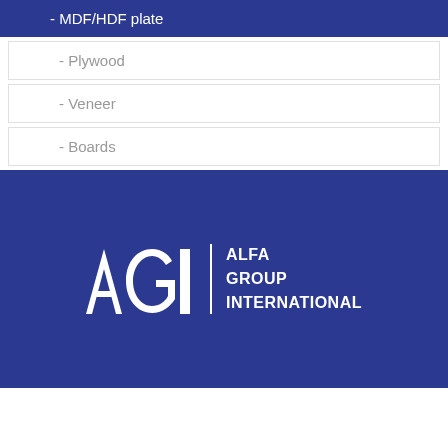- MDF/HDF plate
- Plywood
- Veneer
- Boards
[Figure (logo): AGI - Alfa Group International logo in white on dark blue background]